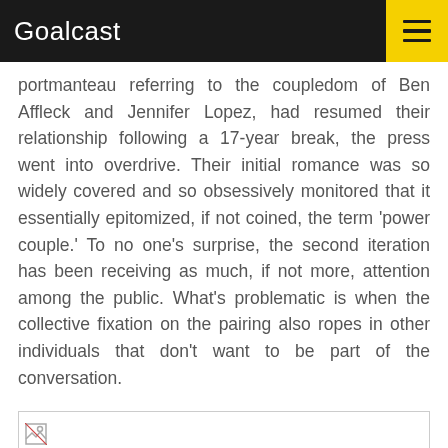Goalcast
portmanteau referring to the coupledom of Ben Affleck and Jennifer Lopez, had resumed their relationship following a 17-year break, the press went into overdrive. Their initial romance was so widely covered and so obsessively monitored that it essentially epitomized, if not coined, the term 'power couple.' To no one's surprise, the second iteration has been receiving as much, if not more, attention among the public. What's problematic is when the collective fixation on the pairing also ropes in other individuals that don't want to be part of the conversation.
[Figure (photo): Broken/unloaded image placeholder at bottom of article]